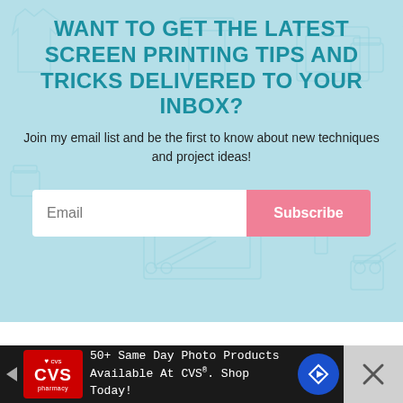[Figure (infographic): Newsletter signup banner with light blue background featuring faint screen printing tool illustrations. Contains a bold teal headline, subtext, email input field, and pink subscribe button.]
WANT TO GET THE LATEST SCREEN PRINTING TIPS AND TRICKS DELIVERED TO YOUR INBOX?
Join my email list and be the first to know about new techniques and project ideas!
[Figure (infographic): Advertisement banner for CVS Pharmacy with dark background. Text: 50+ Same Day Photo Products Available At CVS®. Shop Today!]